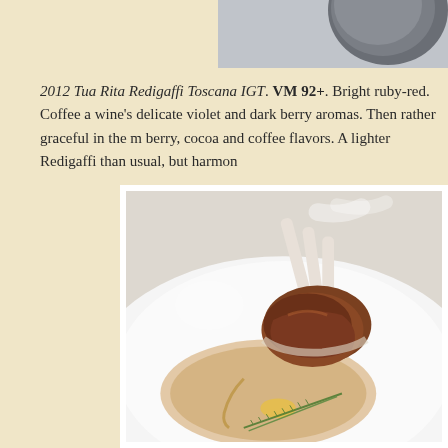[Figure (photo): Partial view of a dark round object, likely a wine bottle or glass, on a light background - top right corner crop]
2012 Tua Rita Redigaffi Toscana IGT. VM 92+. Bright ruby-red. Coffee a wine's delicate violet and dark berry aromas. Then rather graceful in the m berry, cocoa and coffee flavors. A lighter Redigaffi than usual, but harmon
[Figure (photo): Close-up food photograph showing lamb chops (rack of lamb) plated on a white plate with a creamy sauce, drizzle of oil, and fresh rosemary garnish]